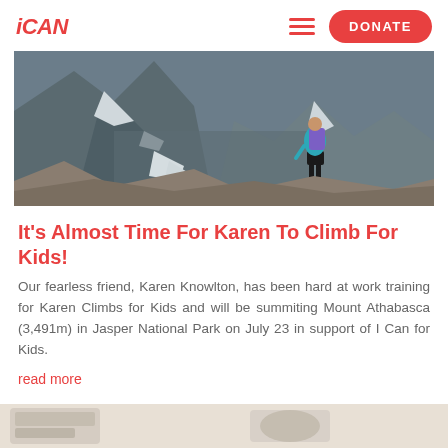iCAN | DONATE
[Figure (photo): A hiker with a blue and purple backpack walking along a rocky mountain ridge with snow-covered peaks in the background, viewed from behind.]
It's Almost Time For Karen To Climb For Kids!
Our fearless friend, Karen Knowlton, has been hard at work training for Karen Climbs for Kids and will be summiting Mount Athabasca (3,491m) in Jasper National Park on July 23 in support of I Can for Kids.
read more
[Figure (photo): Partial view of a bottom strip showing what appears to be printed material at the bottom of the page.]